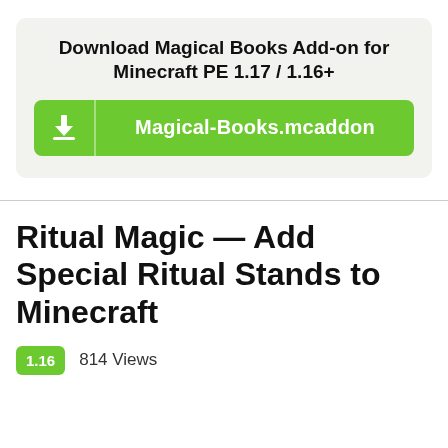Download Magical Books Add-on for Minecraft PE 1.17 / 1.16+
[Figure (other): Green download button with download icon on left and text 'Magical-Books.mcaddon']
Ritual Magic — Add Special Ritual Stands to Minecraft
1.16   814 Views